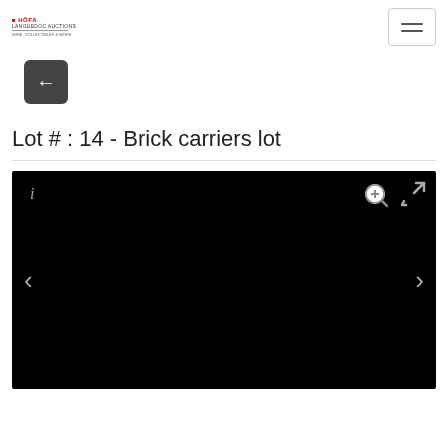Logo / navigation header
[Figure (screenshot): Back button (dark square with left arrow)]
Lot # : 14 - Brick carriers lot
[Figure (photo): Black image placeholder with zoom and expand icons, left and right navigation arrows]